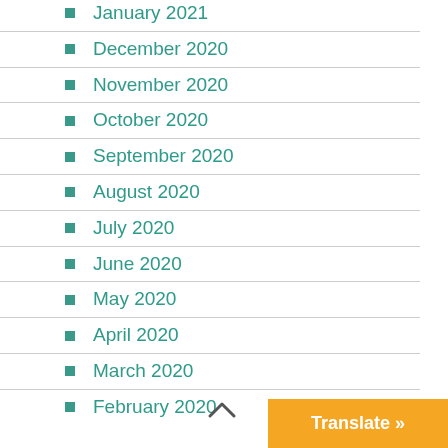January 2021
December 2020
November 2020
October 2020
September 2020
August 2020
July 2020
June 2020
May 2020
April 2020
March 2020
February 2020
Translate »